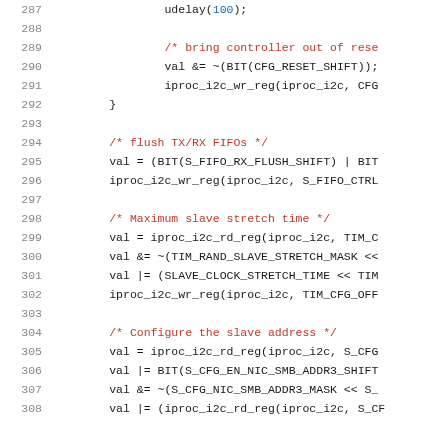Source code listing lines 287-307, C code for iproc_i2c driver initialization
287     udelay(100);
288
289         /* bring controller out of reset */
290         val &= ~(BIT(CFG_RESET_SHIFT));
291         iproc_i2c_wr_reg(iproc_i2c, CFG...
292     }
293
294         /* flush TX/RX FIFOs */
295         val = (BIT(S_FIFO_RX_FLUSH_SHIFT) | BIT...
296         iproc_i2c_wr_reg(iproc_i2c, S_FIFO_CTRL...
297
298         /* Maximum slave stretch time */
299         val = iproc_i2c_rd_reg(iproc_i2c, TIM_C...
300         val &= ~(TIM_RAND_SLAVE_STRETCH_MASK <<...
301         val |= (SLAVE_CLOCK_STRETCH_TIME << TIM...
302         iproc_i2c_wr_reg(iproc_i2c, TIM_CFG_OFF...
303
304         /* Configure the slave address */
305         val = iproc_i2c_rd_reg(iproc_i2c, S_CFG...
306         val |= BIT(S_CFG_EN_NIC_SMB_ADDR3_SHIFT...
307         val &= ~(S_CFG_NIC_SMB_ADDR3_MASK << S_...